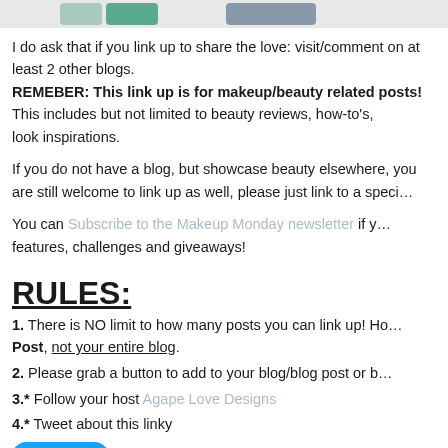[Figure (photo): Partial image strip at top showing makeup/beauty products including teal and green containers and a gray/blue product]
I do ask that if you link up to share the love: visit/comment on at least 2 other blogs. REMEBER: This link up is for makeup/beauty related posts! This includes but not limited to beauty reviews, how-to's, look inspirations.
If you do not have a blog, but showcase beauty elsewhere, you are still welcome to link up as well, please just link to a specific post.
You can Subscribe to the Makeup Monday newsletter if you would like to receive updates about features, challenges and giveaways!
RULES:
1. There is NO limit to how many posts you can link up! However, you must link up to a Specific Post, not your entire blog.
2. Please grab a button to add to your blog/blog post or blog sidebar.
3.* Follow your host Agape Love Designs
4.* Tweet about this linky
[Figure (other): Tweet button - blue rounded button with Twitter bird icon and 'Tweet' text]
*Not Mandatory but appreciated!